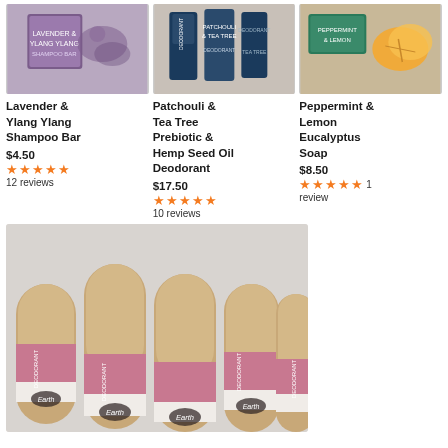[Figure (photo): Lavender & Ylang Ylang Shampoo Bar product photo]
Lavender & Ylang Ylang Shampoo Bar
$4.50
★★★★★ 12 reviews
[Figure (photo): Patchouli & Tea Tree Prebiotic & Hemp Seed Oil Deodorant product photo]
Patchouli & Tea Tree Prebiotic & Hemp Seed Oil Deodorant
$17.50
★★★★★ 10 reviews
[Figure (photo): Peppermint & Lemon Eucalyptus Soap product photo]
Peppermint & Lemon Eucalyptus Soap
$8.50
★★★★★ 1 review
[Figure (photo): Multiple Earth Bar deodorant sticks in cardboard tubes with floral label design]